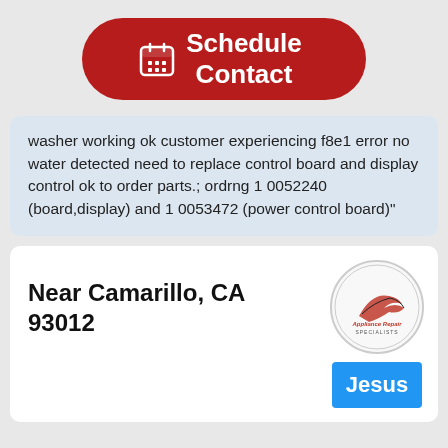[Figure (other): Red pill-shaped button with calendar icon and text 'Schedule Contact']
washer working ok customer experiencing f8e1 error no water detected need to replace control board and display control ok to order parts.; ordrng 1 0052240 (board,display) and 1 0053472 (power control board)"
Near Camarillo, CA 93012
[Figure (logo): Appliance Repair Specialists logo in a circle]
Jesus